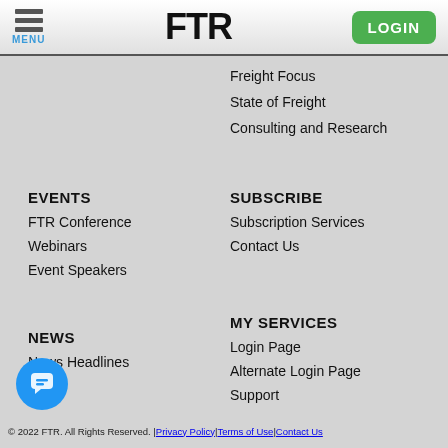MENU | FTR | LOGIN
Freight Focus
State of Freight
Consulting and Research
EVENTS
SUBSCRIBE
FTR Conference
Subscription Services
Webinars
Contact Us
Event Speakers
MY SERVICES
NEWS
Login Page
News Headlines
Alternate Login Page
Blog
Support
© 2022 FTR. All Rights Reserved. | Privacy Policy | Terms of Use | Contact Us